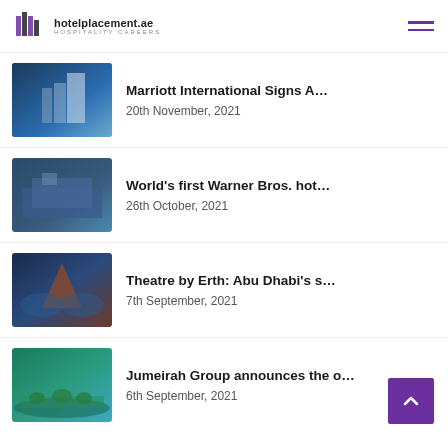hotelplacement.ae — HOSPITALITY CAREERS
Marriott International Signs A…
20th November, 2021
World's first Warner Bros. hot…
26th October, 2021
Theatre by Erth: Abu Dhabi's s…
7th September, 2021
Jumeirah Group announces the o…
6th September, 2021